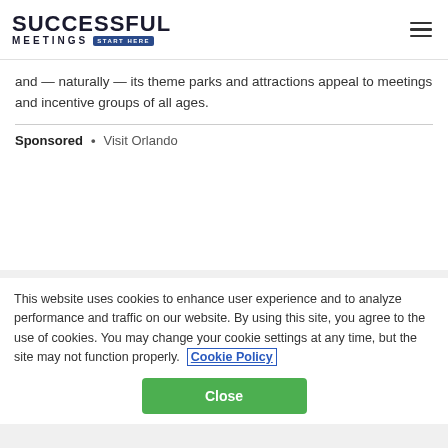SUCCESSFUL MEETINGS START HERE
and — naturally — its theme parks and attractions appeal to meetings and incentive groups of all ages.
Sponsored • Visit Orlando
This website uses cookies to enhance user experience and to analyze performance and traffic on our website. By using this site, you agree to the use of cookies. You may change your cookie settings at any time, but the site may not function properly. Cookie Policy
Close